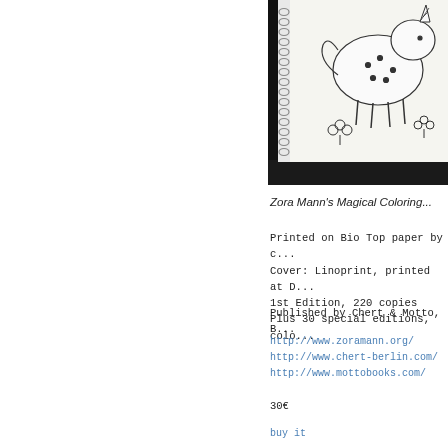[Figure (photo): Photo of a spiral-bound coloring book open to a page showing a hand-drawn unicorn/creature illustration, with a dark background at the bottom.]
Zora Mann's Magical Coloring...
Printed on Bio Top paper by c...
Cover: Linoprint, printed at D...
1st Edition, 220 copies
Plus 30 special editions, colo...
Published by Chert & Motto, B...
http://www.zoramann.org/
http://www.chert-berlin.com/
http://www.mottobooks.com/
30€
buy it